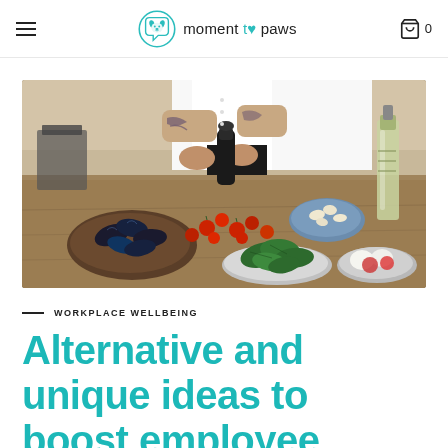moment to paws — navigation header with hamburger menu and cart icon showing 0 items
[Figure (photo): A chef with tattooed arms pouring oil or seasoning onto a spread of fresh food on a wooden table, including mussels on a wooden board, cherry tomatoes, green leafy vegetables on a plate, a bowl of what appears to be gnocchi or cauliflower, and a caprese salad. A decorative glass bottle of oil is on the right. The chef is wearing a white chef's jacket.]
WORKPLACE WELLBEING
Alternative and unique ideas to boost employee